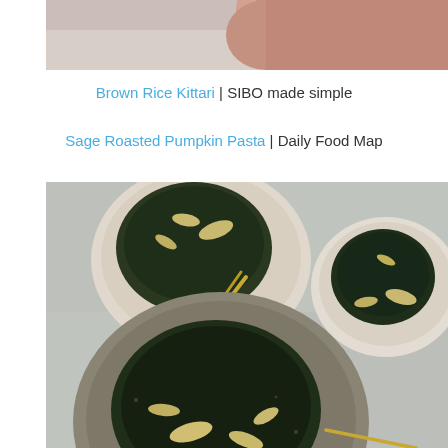[Figure (photo): Top portion of a food photo showing a person's arm/hand, cropped at top of page]
Brown Rice Kittari | SIBO made simple
Sage Roasted Pumpkin Pasta | Daily Food Map
[Figure (photo): Overhead view of three bowls/plates containing dark leafy greens (kale) with garlic chips and golden fork, on a light grey surface with white linen]